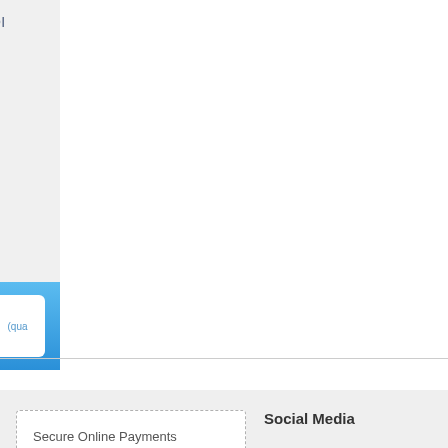OIL FILTER - FORD KIA MAZDA SUBARU
$11.90 Incl GST
Brands May Vary
1 (quantity) | Add to cart | (qua...
Secure Online Payments
Social Media